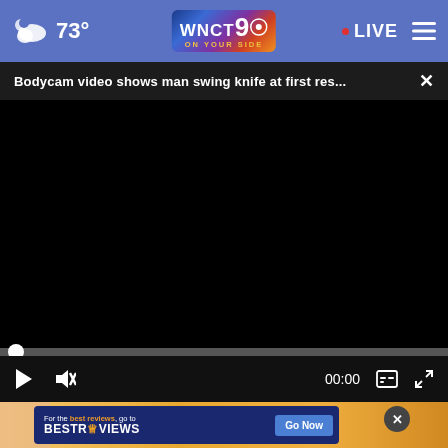73° WNCT 9 ON YOUR SIDE · LIVE
Bodycam video shows man swing knife at first res... ×
[Figure (screenshot): Black video player with progress bar, play button, mute button, 00:00 timestamp, caption and fullscreen icons]
[Figure (screenshot): Advertisement banner: For the best reviews, go to BESTREVIEWS with Go Now button, over a yellow/orange background with close button]